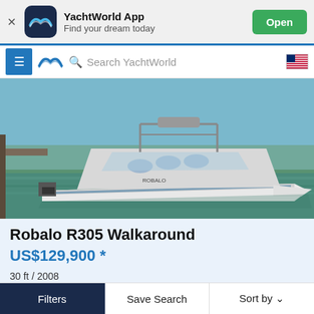YachtWorld App – Find your dream today
[Figure (screenshot): YachtWorld app navigation bar with hamburger menu, logo, search bar saying 'Search YachtWorld', and US flag icon]
[Figure (photo): White Robalo R305 Walkaround motorboat docked at a marina on calm water, view from the side/stern]
Robalo R305 Walkaround
US$129,900 *
30 ft / 2008
Plymouth, Massachusetts, United States
South Shore Dry Dock Marine, Inc
Filters | Save Search | Sort by